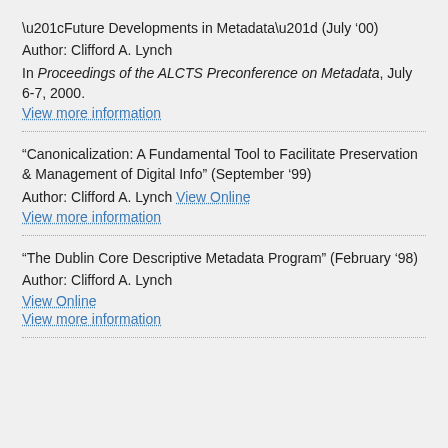“Future Developments in Metadata” (July ’00)
Author: Clifford A. Lynch
In Proceedings of the ALCTS Preconference on Metadata, July 6-7, 2000.
View more information
“Canonicalization: A Fundamental Tool to Facilitate Preservation & Management of Digital Info” (September ’99)
Author: Clifford A. Lynch View Online
View more information
“The Dublin Core Descriptive Metadata Program” (February ‘98)
Author: Clifford A. Lynch
View Online
View more information